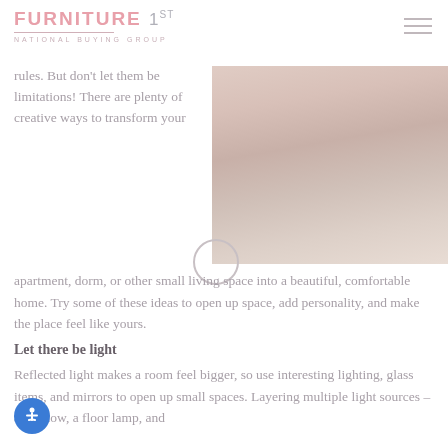FURNITURE 1ST NATIONAL BUYING GROUP
[Figure (photo): A framed mirror or window with cream/beige tones in a bright room]
rules. But don't let them be limitations! There are plenty of creative ways to transform your apartment, dorm, or other small living space into a beautiful, comfortable home. Try some of these ideas to open up space, add personality, and make the place feel like yours.
Let there be light
Reflected light makes a room feel bigger, so use interesting lighting, glass items, and mirrors to open up small spaces. Layering multiple light sources – a window, a floor lamp, and